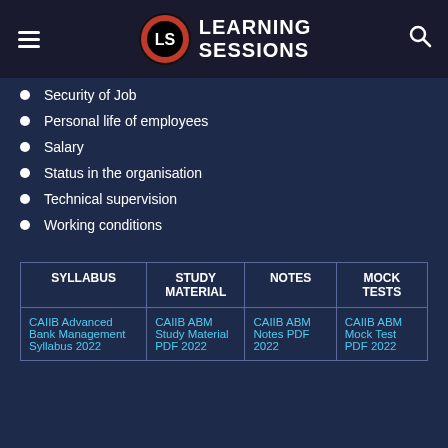[Figure (logo): Learning Sessions logo with LS badge and text]
Security of Job
Personal life of employees
Salary
Status in the organisation
Technical supervision
Working conditions
| SYLLABUS | STUDY MATERIAL | NOTES | MOCK TESTS |
| --- | --- | --- | --- |
| CAIIB Advanced Bank Management Syllabus 2022 | CAIIB ABM Study Material PDF 2022 | CAIIB ABM Notes PDF 2022 | CAIIB ABM Mock Test PDF 2022 |